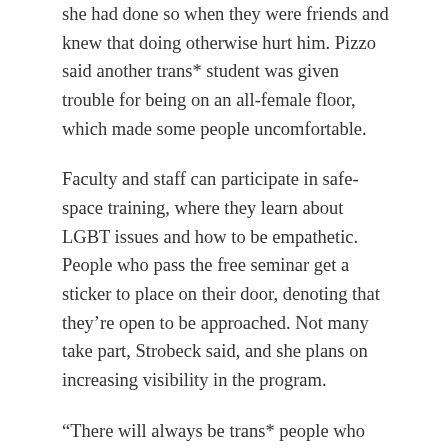she had done so when they were friends and knew that doing otherwise hurt him. Pizzo said another trans* student was given trouble for being on an all-female floor, which made some people uncomfortable.
Faculty and staff can participate in safe-space training, where they learn about LGBT issues and how to be empathetic. People who pass the free seminar get a sticker to place on their door, denoting that they’re open to be approached. Not many take part, Strobeck said, and she plans on increasing visibility in the program.
“There will always be trans* people who will never be out,” Pizzo said. “They will always be stealth.” This is due to the world at large being transphobic, which is slowly